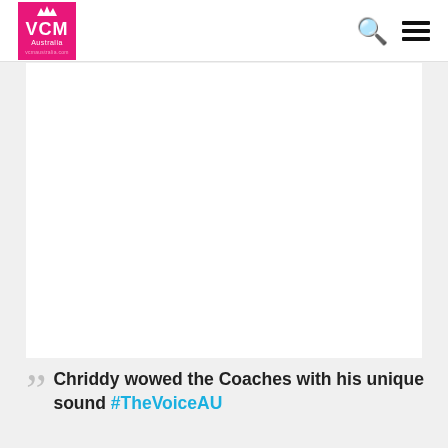VCM Australia
[Figure (other): Large white/blank image area, likely a video or embedded media placeholder]
Chriddy wowed the Coaches with his unique sound #TheVoiceAU